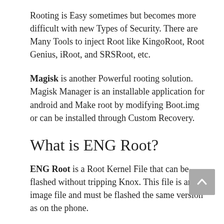Rooting is Easy sometimes but becomes more difficult with new Types of Security. There are Many Tools to inject Root like KingoRoot, Root Genius, iRoot, and SRSRoot, etc.
Magisk is another Powerful rooting solution. Magisk Manager is an installable application for android and Make root by modifying Boot.img or can be installed through Custom Recovery.
What is ENG Root?
ENG Root is a Root Kernel File that can be flashed without tripping Knox. This file is an image file and must be flashed the same version as on the phone.
How to Root Samsung Galaxy S6